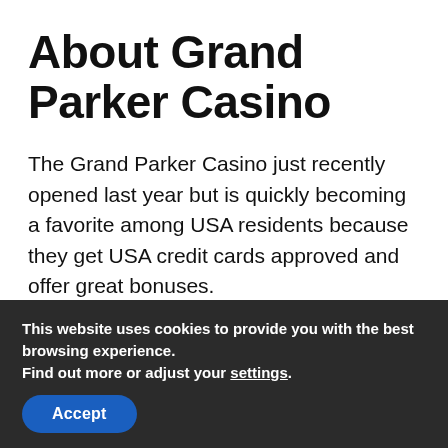About Grand Parker Casino
The Grand Parker Casino just recently opened last year but is quickly becoming a favorite among USA residents because they get USA credit cards approved and offer great bonuses.
Grand Parker offers live 24 hour support either by phone, LIVE Chat or e-mail. See the full Grand Parker Casino review for more details.
This website uses cookies to provide you with the best browsing experience.
Find out more or adjust your settings.
Accept